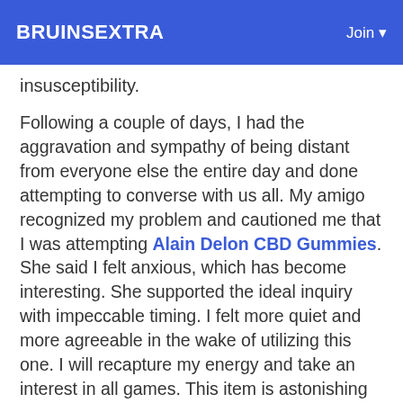BRUINSEXTRA    Join
insusceptibility.
Following a couple of days, I had the aggravation and sympathy of being distant from everyone else the entire day and done attempting to converse with us all. My amigo recognized my problem and cautioned me that I was attempting Alain Delon CBD Gummies. She said I felt anxious, which has become interesting. She supported the ideal inquiry with impeccable timing. I felt more quiet and more agreeable in the wake of utilizing this one. I will recapture my energy and take an interest in all games. This item is astonishing and I suggest it all things being equal.